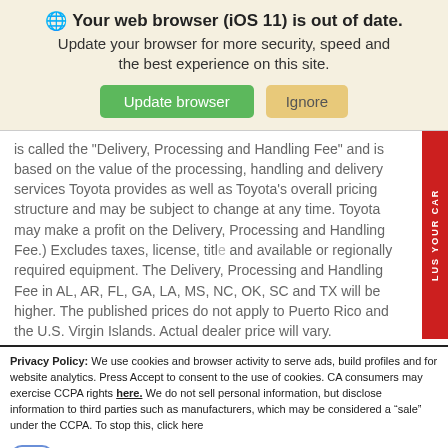Your web browser (iOS 11) is out of date. Update your browser for more security, speed and the best experience on this site.
is called the "Delivery, Processing and Handling Fee" and is based on the value of the processing, handling and delivery services Toyota provides as well as Toyota's overall pricing structure and may be subject to change at any time. Toyota may make a profit on the Delivery, Processing and Handling Fee.) Excludes taxes, license, title and available or regionally required equipment. The Delivery, Processing and Handling Fee in AL, AR, FL, GA, LA, MS, NC, OK, SC and TX will be higher. The published prices do not apply to Puerto Rico and the U.S. Virgin Islands. Actual dealer price will vary.
Privacy Policy: We use cookies and browser activity to serve ads, build profiles and for website analytics. Press Accept to consent to the use of cookies. CA consumers may exercise CCPA rights here. We do not sell personal information, but disclose information to third parties such as manufacturers, which may be considered a “sale” under the CCPA. To stop this, click here
Do Not Sell My Personal Information
Language:  English
Powered by ComplyAuto
Accept and Continue →
California Privacy Disclosures